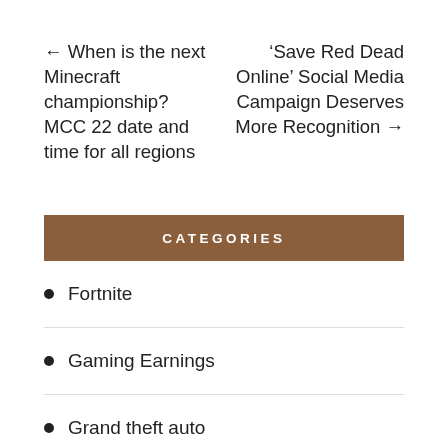← When is the next Minecraft championship? MCC 22 date and time for all regions
'Save Red Dead Online' Social Media Campaign Deserves More Recognition →
CATEGORIES
Fortnite
Gaming Earnings
Grand theft auto